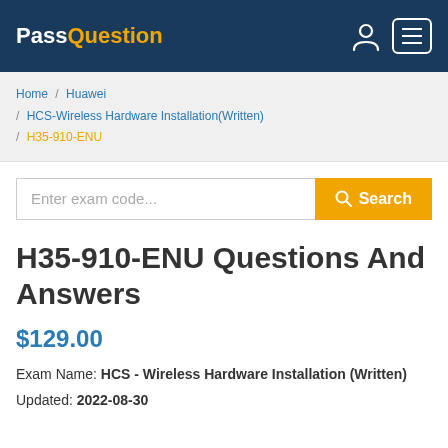PassQuestion
Home / Huawei / HCS-Wireless Hardware Installation(Written) / H35-910-ENU
Enter exam code... Search
H35-910-ENU Questions And Answers
$129.00
Exam Name: HCS - Wireless Hardware Installation (Written)
Updated: 2022-08-30